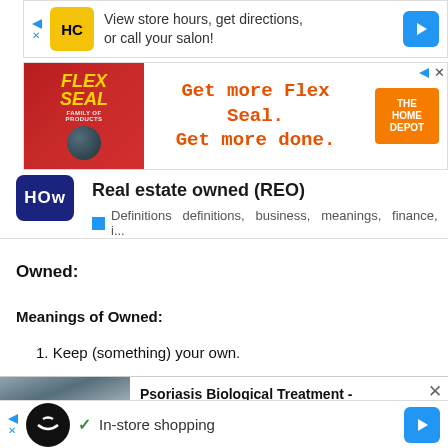[Figure (screenshot): HC salon ad banner: View store hours, get directions, or call your salon!]
[Figure (screenshot): Flex Seal / Home Depot ad: Get more Flex Seal. Get more done.]
Real estate owned (REO)
Definitions  definitions,  business,  meanings,  finance,  i...
Owned:
Meanings of Owned:
1. Keep (something) your own.
[Figure (screenshot): Psoriasis Biological Treatment - Targeted Therapy Options To... Psoriasis | Search Ads | Sponsored]
[Figure (screenshot): Bottom ad bar: In-store shopping]